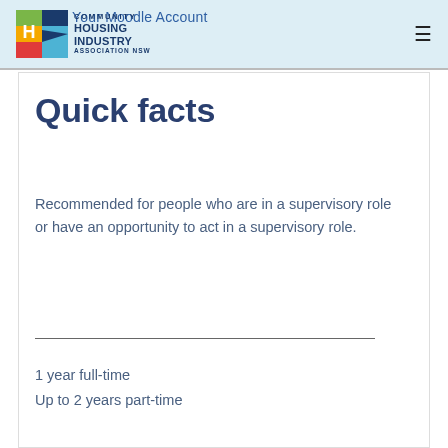Your Moodle Account
[Figure (logo): Community Housing Industry Association NSW logo with colorful square grid icon]
Quick facts
Recommended for people who are in a supervisory role or have an opportunity to act in a supervisory role.
1 year full-time
Up to 2 years part-time